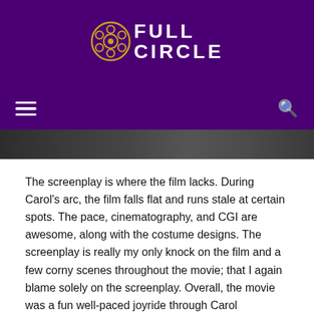FULL CIRCLE
[Figure (photo): Dark cinematic still image, partial view of figures in dim lighting]
The screenplay is where the film lacks. During Carol's arc, the film falls flat and runs stale at certain spots. The pace, cinematography, and CGI are awesome, along with the costume designs. The screenplay is really my only knock on the film and a few corny scenes throughout the movie; that I again blame solely on the screenplay. Overall, the movie was a fun well-paced joyride through Carol Danvers's origin story.